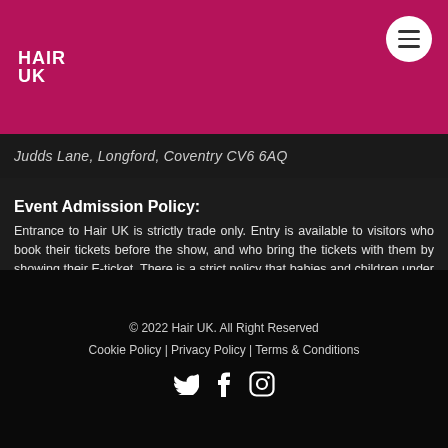HAIR UK
Judds Lane, Longford, Coventry CV6 6AQ
Event Admission Policy:
Entrance to Hair UK is strictly trade only. Entry is available to visitors who book their tickets before the show, and who bring the tickets with them by showing their E-ticket. There is a strict policy that babies and children under the age of 14 years will be refused admission - no prams or pushchairs are allowed. Please note there are no crèche facilities available onsite. The event organiser reserves the right to refuse admission. For more information please call 01332 226 605
© 2022 Hair UK. All Right Reserved
Cookie Policy | Privacy Policy | Terms & Conditions